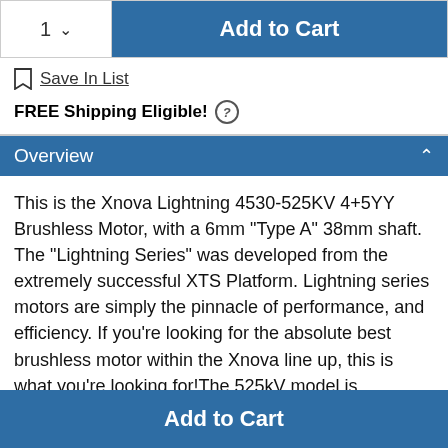1 ∨   Add to Cart
Save In List
FREE Shipping Eligible! (?)
Overview
This is the Xnova Lightning 4530-525KV 4+5YY Brushless Motor, with a 6mm "Type A" 38mm shaft. The "Lightning Series" was developed from the extremely successful XTS Platform. Lightning series motors are simply the pinnacle of performance, and efficiency. If you're looking for the absolute best brushless motor within the Xnova line up, this is what you're looking for!The 525kV model is recommended for extreme 3D flying and is optimized for 12S applications. All XTS motors are 100% hand-wound and each motor runs
Add to Cart